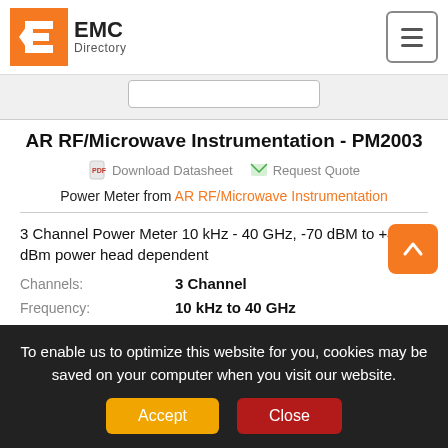EMC Directory
AR RF/Microwave Instrumentation - PM2003
Download Datasheet   Request Quote
Power Meter from AR RF/Microwave Instrumentation
3 Channel Power Meter 10 kHz - 40 GHz, -70 dBM to +44 dBm power head dependent
Channels:  3 Channel
Frequency:  10 kHz to 40 GHz
Measurement Range:  -70 to 44 dBm
Resolution:  0.1 dB
To enable us to optimize this website for you, cookies may be saved on your computer when you visit our website.